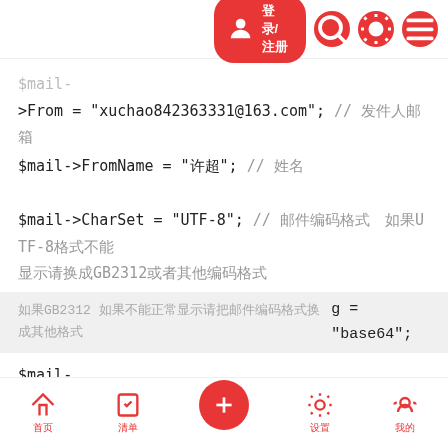登录/注册 navigation bar with search, theme, and menu icons
$mail-
>From = "xuchao842363331@163.com";  // 发件人邮箱
$mail->FromName = "许超";  // 姓名
$mail->CharSet = "UTF-8";  // 邮件编码格式  如果UTF-8格式不能显示请换成GB2312或者其他编码格式
如果GB2312 如果不能正常显示请把邮件编码格式换成其他格式  g = "base64";
$mail-
>AddAddress($sendto_email,"username");  // 添加收件人邮箱
$mail-